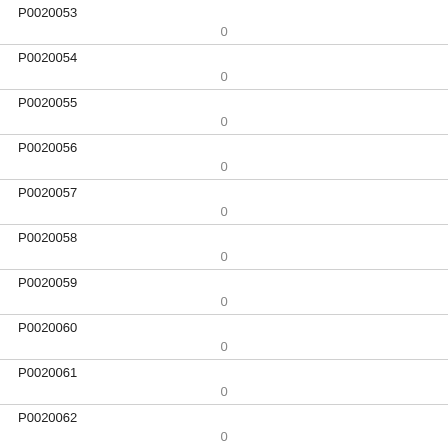| ID | Value |
| --- | --- |
| P0020053 | 0 |
| P0020054 | 0 |
| P0020055 | 0 |
| P0020056 | 0 |
| P0020057 | 0 |
| P0020058 | 0 |
| P0020059 | 0 |
| P0020060 | 0 |
| P0020061 | 0 |
| P0020062 | 0 |